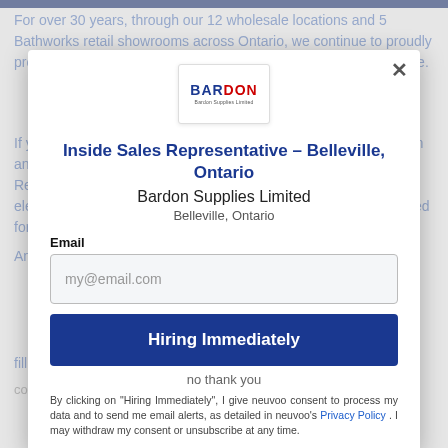[Figure (screenshot): A job application modal popup overlay on a job listing page for Bardon Supplies Limited. The modal contains a logo, job title, company name, location, email input field, a 'Hiring Immediately' button, a 'no thank you' link, and consent text. Background shows partially visible job listing text.]
Inside Sales Representative – Belleville, Ontario
Bardon Supplies Limited
Belleville, Ontario
Email
my@email.com
Hiring Immediately
no thank you
By clicking on "Hiring Immediately", I give neuvoo consent to process my data and to send me email alerts, as detailed in neuvoo's Privacy Policy . I may withdraw my consent or unsubscribe at any time.